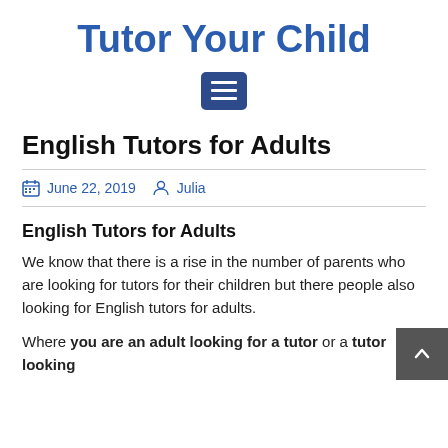Tutor Your Child
[Figure (other): Hamburger menu button icon (three horizontal white lines on dark blue rounded rectangle background)]
English Tutors for Adults
June 22, 2019   Julia
English Tutors for Adults
We know that there is a rise in the number of parents who are looking for tutors for their children but there people also looking for English tutors for adults.
Where you are an adult looking for a tutor or a tutor looking